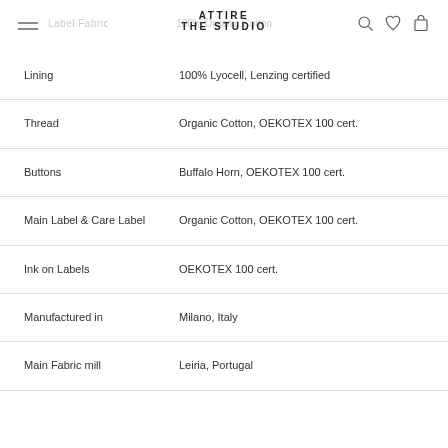ATTIRE THE STUDIO
| Attribute | Value |
| --- | --- |
| Lining | 100% Lyocell, Lenzing certified |
| Thread | Organic Cotton, OEKOTEX 100 cert. |
| Buttons | Buffalo Horn, OEKOTEX 100 cert. |
| Main Label & Care Label | Organic Cotton, OEKOTEX 100 cert. |
| Ink on Labels | OEKOTEX 100 cert. |
| Manufactured in | Milano, Italy |
| Main Fabric mill | Leiria, Portugal |